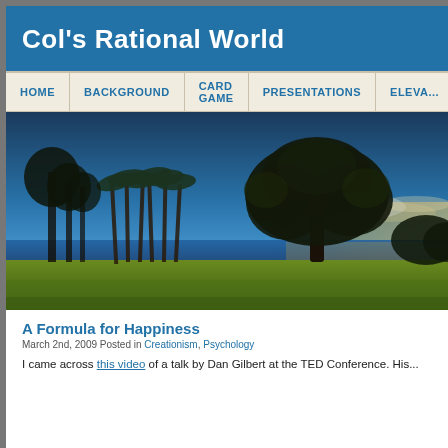Col's Rational World
HOME | BACKGROUND | CARD GAME | PRESENTATIONS | ELEVA...
[Figure (photo): Scenic landscape photo with a large tree silhouetted against a blue sky and ocean at sunset, with green grass in the foreground and palm trees to the left]
A Formula for Happiness
March 2nd, 2009 Posted in Creationism, Psychology
I came across this video of a talk by Dan Gilbert at the TED Conference. His...